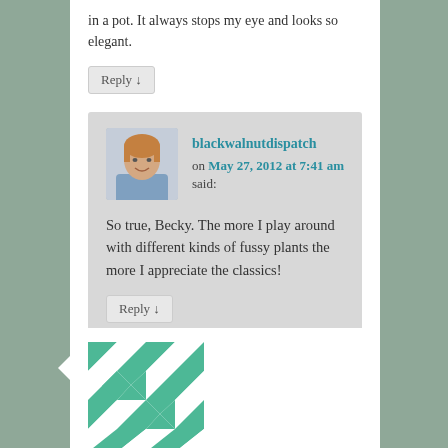in a pot. It always stops my eye and looks so elegant.
Reply ↓
blackwalnutdispatch on May 27, 2012 at 7:41 am said:
So true, Becky. The more I play around with different kinds of fussy plants the more I appreciate the classics!
Reply ↓
[Figure (illustration): User avatar: decorative green and white geometric quilt pattern]